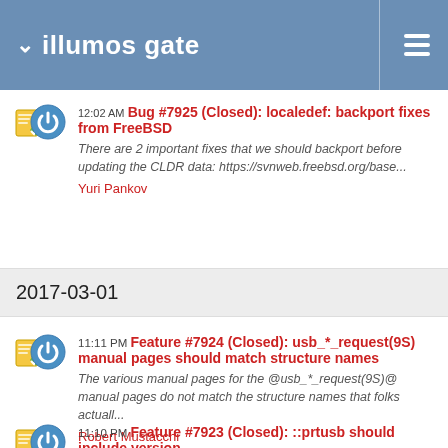illumos gate
12:02 AM Bug #7925 (Closed): localedef: backport fixes from FreeBSD
There are 2 important fixes that we should backport before updating the CLDR data: https://svnweb.freebsd.org/base...
Yuri Pankov
2017-03-01
11:11 PM Feature #7924 (Closed): usb_*_request(9S) manual pages should match structure names
The various manual pages for the @usb_*_request(9S)@ manual pages do not match the structure names that folks actuall...
Robert Mustacchi
11:10 PM Feature #7923 (Closed): ::prtusb should include version